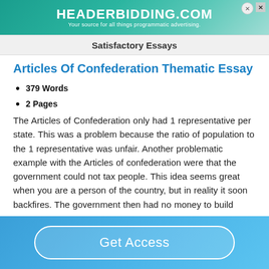[Figure (screenshot): HEADERBIDDING.COM advertisement banner — 'Your source for all things programmatic advertising.']
Satisfactory Essays
Articles Of Confederation Thematic Essay
379 Words
2 Pages
The Articles of Confederation only had 1 representative per state. This was a problem because the ratio of population to the 1 representative was unfair. Another problematic example with the Articles of confederation were that the government could not tax people. This idea seems great when you are a person of the country, but in reality it soon backfires. The government then had no money to build
Get Access